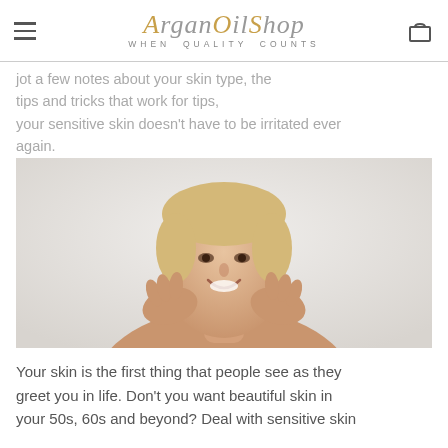ARGANOILSHOP — WHEN QUALITY COUNTS
jot a few notes about your skin type, the tips and tricks that work for tips, your sensitive skin doesn't have to be irritated ever again.
[Figure (photo): A smiling middle-aged woman with short blonde hair touching her face with both hands against a light background]
Your skin is the first thing that people see as they greet you in life. Don't you want beautiful skin in your 50s, 60s and beyond? Deal with sensitive skin